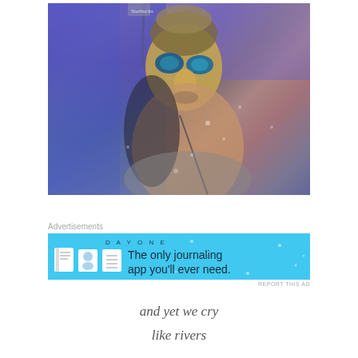[Figure (photo): Person wearing an ornate masquerade mask with teal eye pieces and golden/bronze detailing on a crown-like top, against a purple/blue lit background. The person appears to be wearing a sleeveless top. The image has a somewhat blurred, atmospheric quality.]
Advertisements
[Figure (infographic): Advertisement banner for Day One journaling app. Cyan/light blue background with 'DAY ONE' text, three app icons showing journal, person, and list, and text reading 'The only journaling app you'll ever need.']
REPORT THIS AD
and yet we cry
like rivers